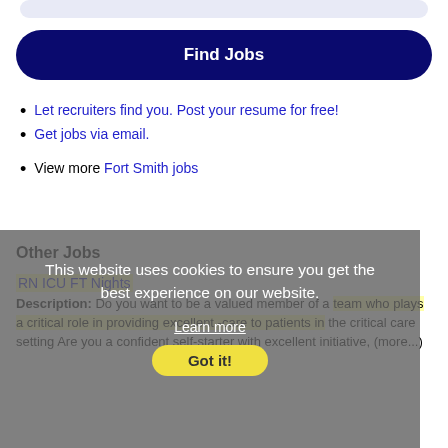[Figure (other): Partial blue/gray rounded bar at top, cut off]
Find Jobs
Let recruiters find you. Post your resume for free!
Get jobs via email.
View more Fort Smith jobs
This website uses cookies to ensure you get the best experience on our website.
Learn more
Got it!
Other Jobs
RN ICU FT Nights
Description: Do you want to be a valued member of a team who plays a critical role in providing excellent -care to patients in the critical care setting Are you a confident self-starter with excellent initiative, (more...)